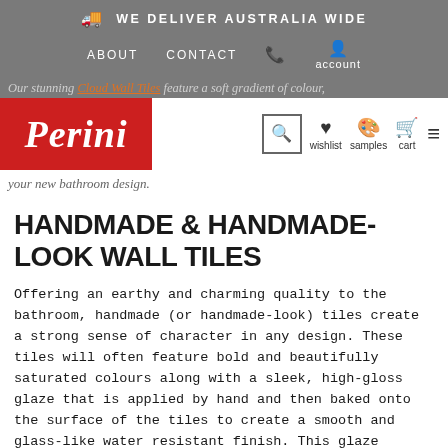WE DELIVER AUSTRALIA WIDE
ABOUT   CONTACT   phone   account
Our stunning Cloud Wall Tiles feature a soft gradient of colour,
[Figure (logo): Perini logo — white italic script on red background]
search wishlist samples cart menu icons
your new bathroom design.
HANDMADE & HANDMADE-LOOK WALL TILES
Offering an earthy and charming quality to the bathroom, handmade (or handmade-look) tiles create a strong sense of character in any design. These tiles will often feature bold and beautifully saturated colours along with a sleek, high-gloss glaze that is applied by hand and then baked onto the surface of the tiles to create a smooth and glass-like water resistant finish. This glaze allows for a very simple to maintain surface finish that will not requir...